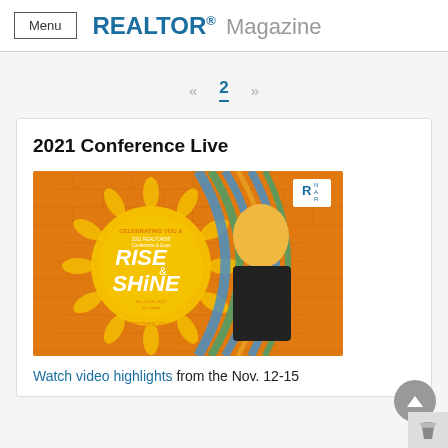Menu  REALTOR® Magazine
« 2 »
2021 Conference Live
[Figure (photo): 2021 REALTORS® Conference & Expo Rise & Shine promotional banner featuring a woman in a yellow hijab against an orange brick wall background with sunflower design. Text: CELEBRATING YOU & 2021 REALTORS® Conference & Expo RISE & SHINE Nov. 12-05, 2021 San Diego EVERYTHING YOU DO. NAR logo shown top right.]
Watch video highlights from the Nov. 12-15